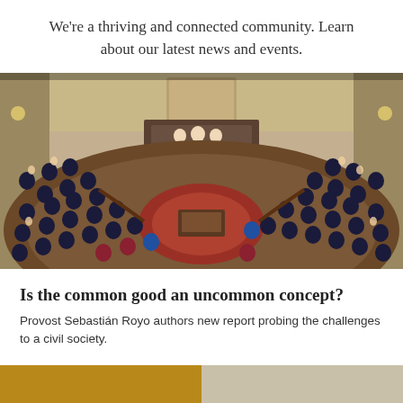We're a thriving and connected community. Learn about our latest news and events.
[Figure (photo): Overhead view of a packed parliamentary chamber (likely the Spanish Congress) with delegates seated in curved rows, a central podium, ornate architecture, Spanish flags, and people applauding]
Is the common good an uncommon concept?
Provost Sebastián Royo authors new report probing the challenges to a civil society.